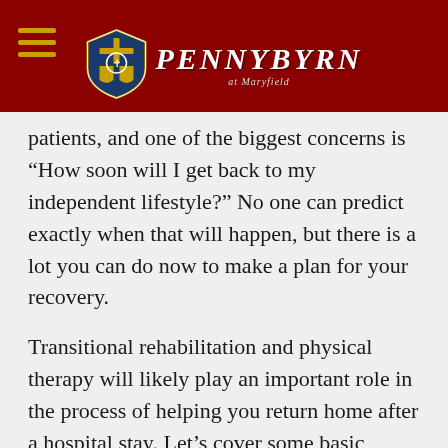PENNYBYRN
patients, and one of the biggest concerns is “How soon will I get back to my independent lifestyle?” No one can predict exactly when that will happen, but there is a lot you can do now to make a plan for your recovery.
Transitional rehabilitation and physical therapy will likely play an important role in the process of helping you return home after a hospital stay. Let’s cover some basic issues and questions you will need to consider as you recover.
Preparations With Your Caregivers